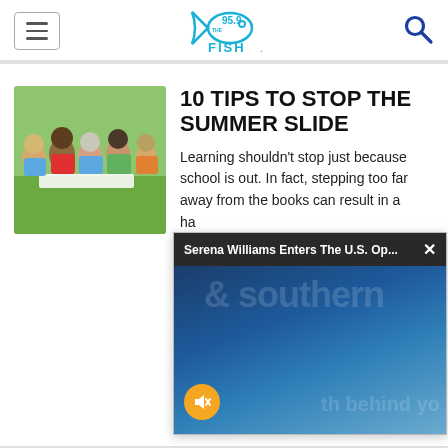95.9 THE FISH
[Figure (photo): Children lying on grass reading/looking at books together outdoors]
10 TIPS TO STOP THE SUMMER SLIDE
Learning shouldn't stop just because school is out. In fact, stepping too far away from the books can result in a...ha...rea...da...pre...
[Figure (screenshot): Video overlay popup showing 'Serena Williams Enters The U.S. Op...' with a mute button and video thumbnail of Serena Williams playing tennis]